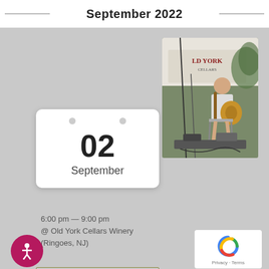September 2022
[Figure (photo): Calendar icon card showing date 02 September]
6:00 pm — 9:00 pm
@ Old York Cellars Winery (Ringoes, NJ)
[Figure (photo): Musician playing acoustic guitar at Old York Cellars winery event, seated under a tent with Old York Cellars banner in background]
Read More